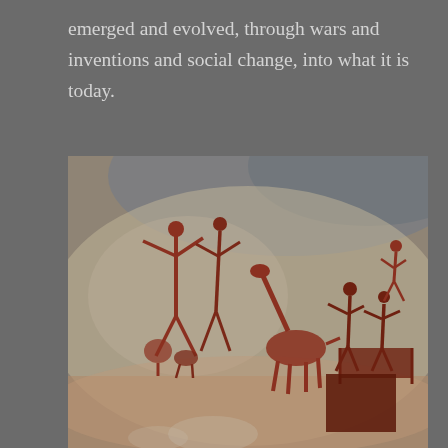emerged and evolved, through wars and inventions and social change, into what it is today.
[Figure (photo): Ancient cave painting or rock art showing reddish-brown figures of humans and animals (including what appears to be a giraffe and other figures) painted on a stone or cave wall surface with mottled grey, blue and tan tones.]